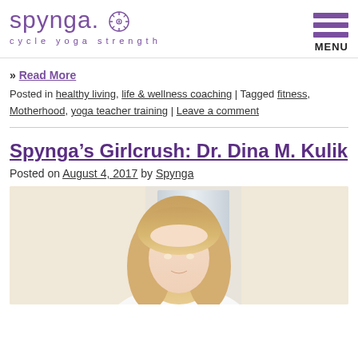spynga. cycle yoga strength
» Read More
Posted in healthy living, life & wellness coaching | Tagged fitness, Motherhood, yoga teacher training | Leave a comment
Spynga's Girlcrush: Dr. Dina M. Kulik
Posted on August 4, 2017 by Spynga
[Figure (photo): Photo of Dr. Dina M. Kulik, a woman with blonde hair, in a light-colored interior setting]